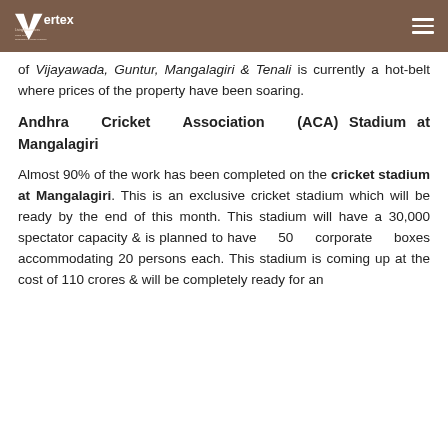Vertex Living Assurances — header with logo and hamburger menu
of Vijayawada, Guntur, Mangalagiri & Tenali is currently a hot-belt where prices of the property have been soaring.
Andhra Cricket Association (ACA) Stadium at Mangalagiri
Almost 90% of the work has been completed on the cricket stadium at Mangalagiri. This is an exclusive cricket stadium which will be ready by the end of this month. This stadium will have a 30,000 spectator capacity & is planned to have 50 corporate boxes accommodating 20 persons each. This stadium is coming up at the cost of 110 crores & will be completely ready for an